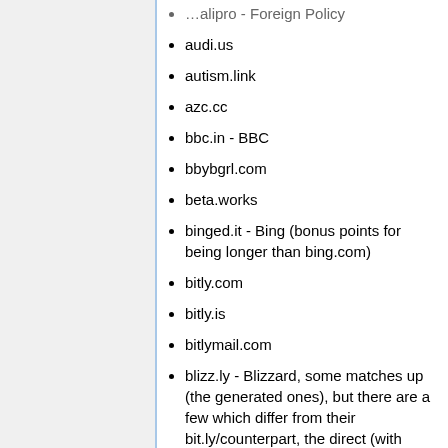audi.us
autism.link
azc.cc
bbc.in - BBC
bbybgrl.com
beta.works
binged.it - Bing (bonus points for being longer than bing.com)
bitly.com
bitly.is
bitlymail.com
blizz.ly - Blizzard, some matches up (the generated ones), but there are a few which differ from their bit.ly/counterpart, the direct (with meaningful words) like http://blizz.ly/BuyOverwatch (Has Shortcodes different to standard bit.ly)